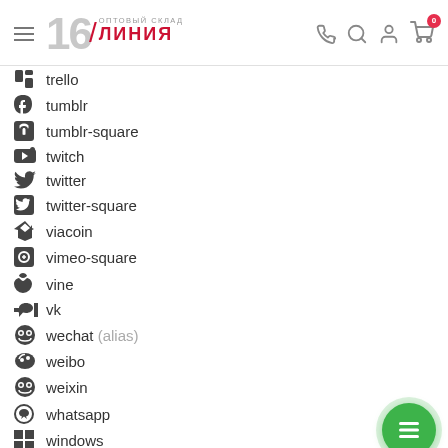16 ЛИНИЯ ОПТОВЫЙ СКЛАД — navigation header with phone, search, account, cart icons
trello
tumblr
tumblr-square
twitch
twitter
twitter-square
viacoin
vimeo-square
vine
vk
wechat (alias)
weibo
weixin
whatsapp
windows